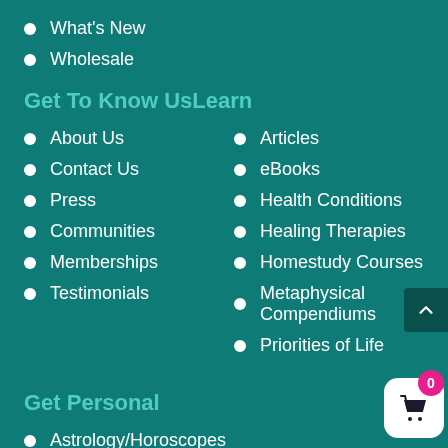What's New
Wholesale
Get To Know UsLearn
About Us
Articles
Contact Us
eBooks
Press
Health Conditions
Communities
Healing Therapies
Memberships
Homestudy Courses
Testimonials
Metaphysical Compendiums
Priorities of Life
Get Personal
Astrology/Horoscopes